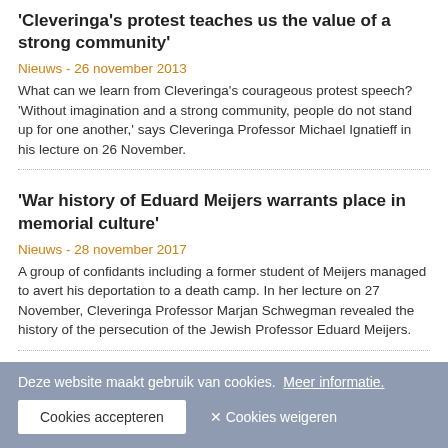'Cleveringa's protest teaches us the value of a strong community'
Nieuws - 26 november 2013
What can we learn from Cleveringa's courageous protest speech? 'Without imagination and a strong community, people do not stand up for one another,' says Cleveringa Professor Michael Ignatieff in his lecture on 26 November.
'War history of Eduard Meijers warrants place in memorial culture'
Nieuws - 28 november 2017
A group of confidants including a former student of Meijers managed to avert his deportation to a death camp. In her lecture on 27 November, Cleveringa Professor Marjan Schwegman revealed the history of the persecution of the Jewish Professor Eduard Meijers.
If you have data, why not use it?
Nieuws - 9 mei 2016
Sociaaleconomisch Beleid: Empirische Analyse is a new course for those students on the Bachelor's programme in Public Administration who are following the specialisation in Economics, Administration and Management.
Deze website maakt gebruik van cookies.  Meer informatie.
Cookies accepteren   ✕ Cookies weigeren